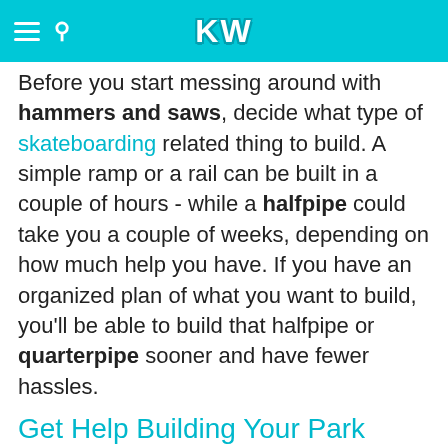KW
Before you start messing around with hammers and saws, decide what type of skateboarding related thing to build. A simple ramp or a rail can be built in a couple of hours - while a halfpipe could take you a couple of weeks, depending on how much help you have. If you have an organized plan of what you want to build, you'll be able to build that halfpipe or quarterpipe sooner and have fewer hassles.
Get Help Building Your Park
Make sure you talk to your parents. They may not pop ollies or mctwists themselves, but